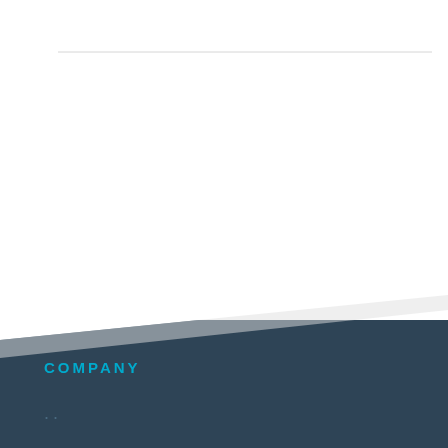[Figure (illustration): Cover page design with white upper section containing a thin horizontal rule, and a dark blue-grey diagonal section in the lower portion. The white page appears to curl or angle over the dark background.]
COMPANY
..